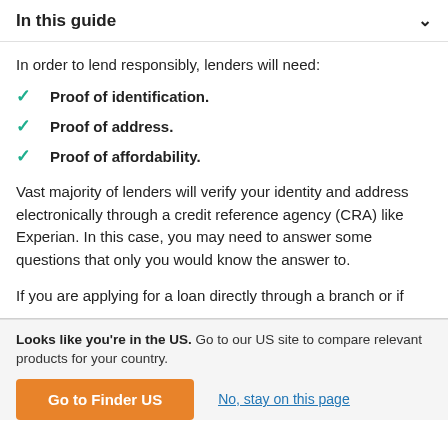In this guide
In order to lend responsibly, lenders will need:
Proof of identification.
Proof of address.
Proof of affordability.
Vast majority of lenders will verify your identity and address electronically through a credit reference agency (CRA) like Experian. In this case, you may need to answer some questions that only you would know the answer to.
If you are applying for a loan directly through a branch or if
Looks like you're in the US. Go to our US site to compare relevant products for your country. | Go to Finder US | No, stay on this page